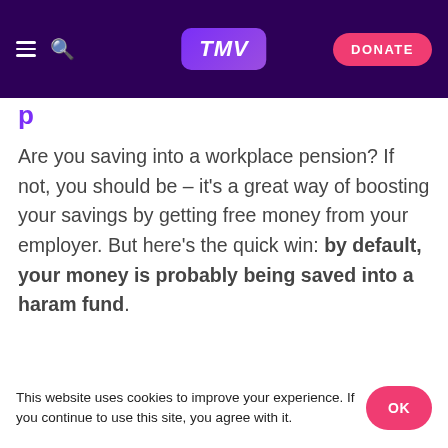TMV — DONATE
Are you saving into a workplace pension? If not, you should be – it's a great way of boosting your savings by getting free money from your employer. But here's the quick win: by default, your money is probably being saved into a haram fund.
[Figure (other): Advertisement placeholder labeled ADVERTISE ON TMV]
This website uses cookies to improve your experience. If you continue to use this site, you agree with it.